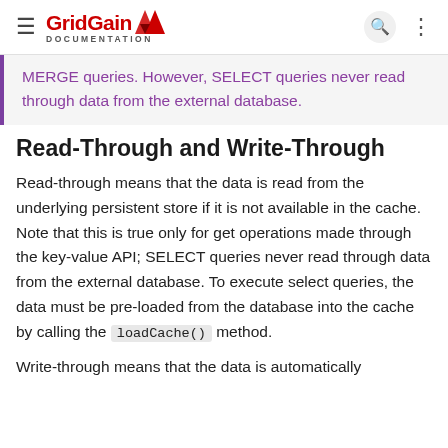GridGain DOCUMENTATION
MERGE queries. However, SELECT queries never read through data from the external database.
Read-Through and Write-Through
Read-through means that the data is read from the underlying persistent store if it is not available in the cache. Note that this is true only for get operations made through the key-value API; SELECT queries never read through data from the external database. To execute select queries, the data must be pre-loaded from the database into the cache by calling the loadCache() method.
Write-through means that the data is automatically